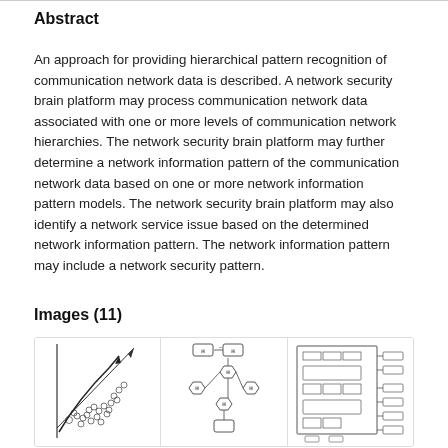Abstract
An approach for providing hierarchical pattern recognition of communication network data is described. A network security brain platform may process communication network data associated with one or more levels of communication network hierarchies. The network security brain platform may further determine a network information pattern of the communication network data based on one or more network information pattern models. The network security brain platform may also identify a network service issue based on the determined network information pattern. The network information pattern may include a network security pattern.
Images (11)
[Figure (other): Three patent diagram thumbnails: (1) scatter plot with diagonal curve and data points, (2) flowchart with hexagonal nodes arranged in a flower pattern with rectangular nodes, (3) block/box diagram showing layered architecture with right-side labels.]